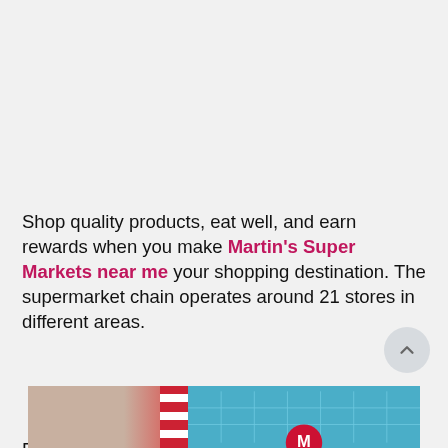Shop quality products, eat well, and earn rewards when you make Martin's Super Markets near me your shopping destination. The supermarket chain operates around 21 stores in different areas.
Departments available in their stores include specialty foods, grocery, dairy, frozen, floral, produce, and bakery. They also operate fuel centers and offer a car wash service. Their services allow you to keep your vehicle on the go. They operate around seven fuel center locations that are open 24/7.
[Figure (photo): Partial view of a storefront strip image showing a building exterior with red/white striped element on the left side and blue tiled/glass facade on the right, with a partial logo visible at the bottom center.]